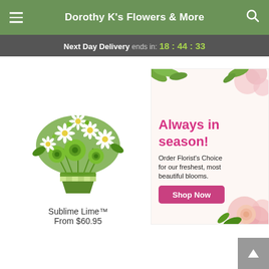Dorothy K's Flowers & More
Next Day Delivery ends in: 18 : 44 : 33
[Figure (photo): Bouquet of white daisies and green spider mums in a green square vase with checkered ribbon — Sublime Lime product photo]
Sublime Lime™
From $60.95
[Figure (infographic): Advertisement banner: 'Always in season! Order Florist's Choice for our freshest, most beautiful blooms. Shop Now' with pink roses and flower imagery]